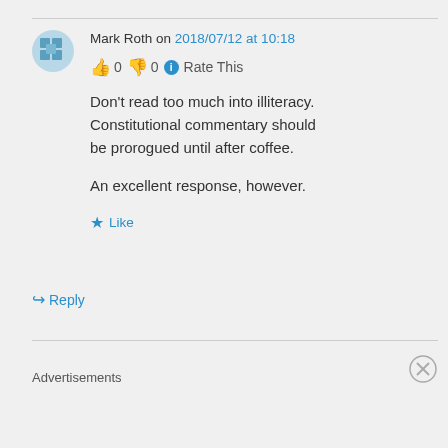Mark Roth on 2018/07/12 at 10:18
👍 0 👎 0 ℹ Rate This
Don't read too much into illiteracy. Constitutional commentary should be prorogued until after coffee.

An excellent response, however.
★ Like
↪ Reply
Advertisements